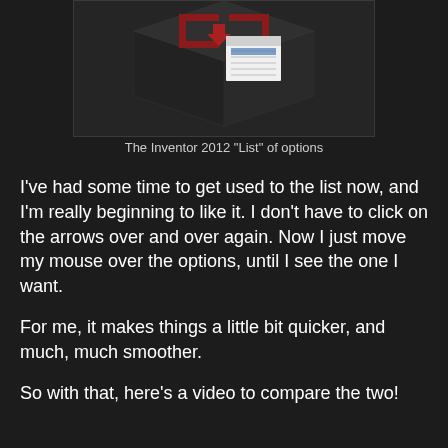[Figure (screenshot): A 3D dark cube with a red logo/icon on top and a small white dropdown list/menu dialog visible on the surface. The background is dark grey. This appears to be a screenshot of Autodesk Inventor 2012 software showing a 'List' of options.]
The Inventor 2012 "List" of options
I've had some time to get used to the list now, and I'm really beginning to like it.  I don't have to click on the arrows over and over again.  Now I just move my mouse over the options, until I see the one I want.
For me, it makes things a little bit quicker, and much, much smoother.
So with that, here's a video to compare the two!